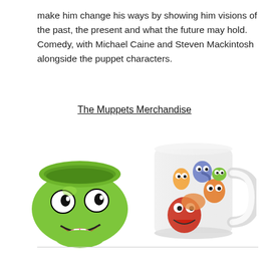make him change his ways by showing him visions of the past, the present and what the future may hold. Comedy, with Michael Caine and Steven Mackintosh alongside the puppet characters.
The Muppets Merchandise
[Figure (photo): Kermit the Frog ceramic bowl/mug shaped like Kermit's face, bright green with googly eyes and open smiling mouth showing red tongue]
[Figure (photo): White ceramic coffee mug with Muppets characters printed on it including Animal, Beaker, Fozzie, and other Muppet characters crowded together]